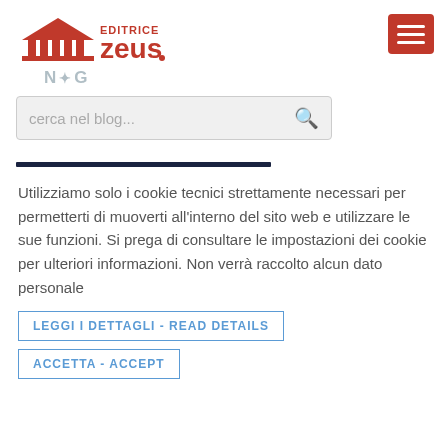[Figure (logo): Editrice Zeus logo with red text and building/columns icon]
N&G
[Figure (screenshot): Red hamburger menu button (three white horizontal lines on red background)]
cerca nel blog...
Utilizziamo solo i cookie tecnici strettamente necessari per permetterti di muoverti all'interno del sito web e utilizzare le sue funzioni. Si prega di consultare le impostazioni dei cookie per ulteriori informazioni. Non verrà raccolto alcun dato personale
LEGGI I DETTAGLI - READ DETAILS
ACCETTA - ACCEPT